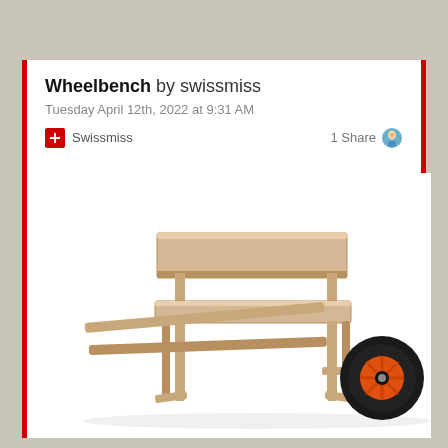Wheelbench by swissmiss
Tuesday April 12th, 2022 at 9:31 AM
Swissmiss    1 Share
[Figure (photo): A wooden bench with wheelbarrow handles and a single black and orange wheel on the right side, photographed on a white background. The bench has a backrest, seat, and four legs with angled support bars extending to the left like wheelbarrow handles and one wheel on the right.]